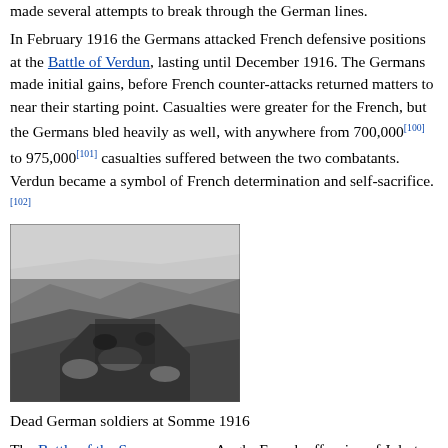made several attempts to break through the German lines.
In February 1916 the Germans attacked French defensive positions at the Battle of Verdun, lasting until December 1916. The Germans made initial gains, before French counter-attacks returned matters to near their starting point. Casualties were greater for the French, but the Germans bled heavily as well, with anywhere from 700,000[100] to 975,000[101] casualties suffered between the two combatants. Verdun became a symbol of French determination and self-sacrifice.[102]
[Figure (photo): Black and white photograph of dead German soldiers in a trench at the Battle of the Somme, 1916.]
Dead German soldiers at Somme 1916
The Battle of the Somme was an Anglo-French offensive of July to November 1916. The opening day of the offensive (1 July 1916)